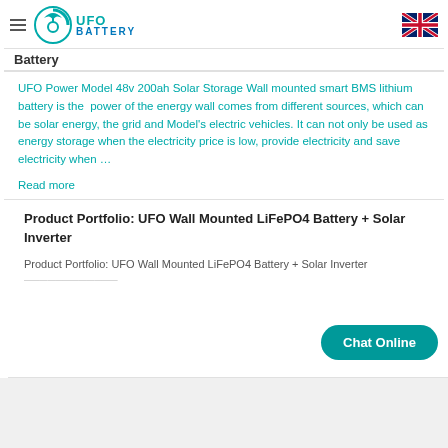UFO Battery
Battery
UFO Power Model 48v 200ah Solar Storage Wall mounted smart BMS lithium battery is the power of the energy wall comes from different sources, which can be solar energy, the grid and Model's electric vehicles. It can not only be used as energy storage when the electricity price is low, provide electricity and save electricity when …
Read more
Product Portfolio: UFO Wall Mounted LiFePO4 Battery + Solar Inverter
Product Portfolio: UFO Wall Mounted LiFePO4 Battery + Solar Inverter